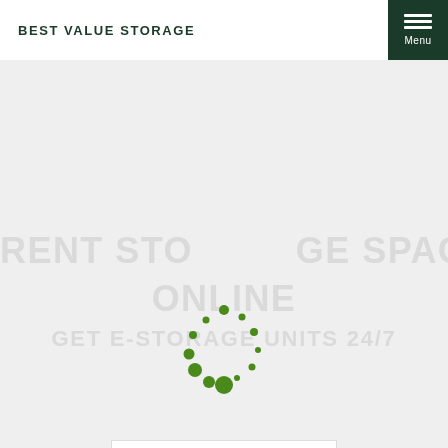BEST VALUE STORAGE
[Figure (other): Loading spinner — circular arrangement of green dots of varying sizes, indicating a page loading state]
RENT STORAGE SPACE ONLINE GET E-STORAGE UNITS 24/7
VIEW RATES